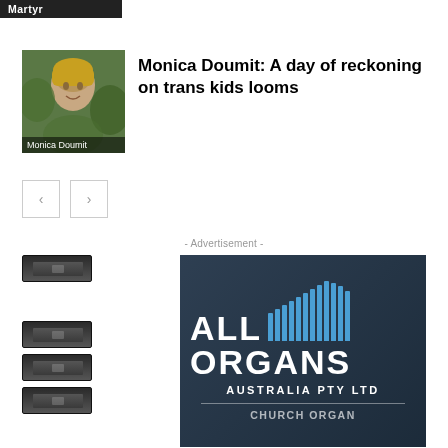Martyr
[Figure (photo): Thumbnail photo of Monica Doumit looking upward, with green foliage background]
Monica Doumit: A day of reckoning on trans kids looms
- Advertisement -
[Figure (logo): All Organs Australia Pty Ltd advertisement banner with organ keyboard on left and dark blue company logo on right, showing 'ALL ORGANS AUSTRALIA PTY LTD' text with blue pipes graphic, and partial text 'CHURCH ORGAN' at bottom]